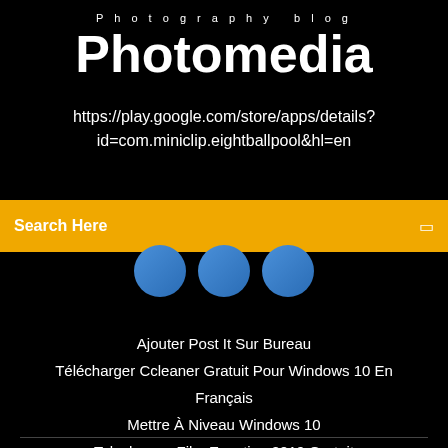Photography blog
Photomedia
https://play.google.com/store/apps/details?id=com.miniclip.eightballpool&hl=en
Search Here
[Figure (illustration): Three blue circles partially visible below the search bar]
Ajouter Post It Sur Bureau
Télécharger Ccleaner Gratuit Pour Windows 10 En Français
Mettre À Niveau Windows 10
Telecharger Film Egyptien 2019 Gratuit